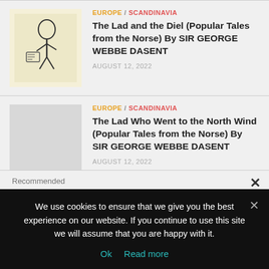EUROPE / SCANDINAVIA
The Lad and the Diel (Popular Tales from the Norse) By SIR GEORGE WEBBE DASENT
AUGUST 12, 2022
EUROPE / SCANDINAVIA
The Lad Who Went to the North Wind (Popular Tales from the Norse) By SIR GEORGE WEBBE DASENT
AUGUST 12, 2022
Recommended
We use cookies to ensure that we give you the best experience on our website. If you continue to use this site we will assume that you are happy with it.
Ok   Read more